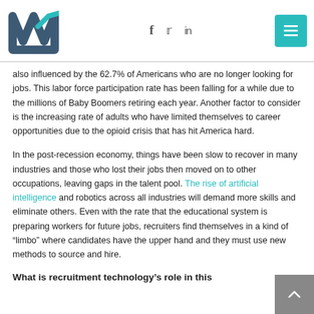M [logo] | f [facebook] | [twitter] | in [linkedin] | [menu]
also influenced by the 62.7% of Americans who are no longer looking for jobs. This labor force participation rate has been falling for a while due to the millions of Baby Boomers retiring each year. Another factor to consider is the increasing rate of adults who have limited themselves to career opportunities due to the opioid crisis that has hit America hard.
In the post-recession economy, things have been slow to recover in many industries and those who lost their jobs then moved on to other occupations, leaving gaps in the talent pool. The rise of artificial intelligence and robotics across all industries will demand more skills and eliminate others. Even with the rate that the educational system is preparing workers for future jobs, recruiters find themselves in a kind of “limbo” where candidates have the upper hand and they must use new methods to source and hire.
What is recruitment technology’s role in this